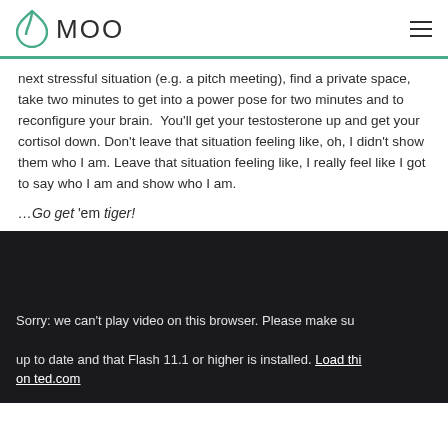MOO
next stressful situation (e.g. a pitch meeting), find a private space, take two minutes to get into a power pose for two minutes and to reconfigure your brain.  You'll get your testosterone up and get your cortisol down. Don't leave that situation feeling like, oh, I didn't show them who I am. Leave that situation feeling like, I really feel like I got to say who I am and show who I am.
…Go get 'em tiger!
[Figure (screenshot): Dark video player block with error message: Sorry: we can't play video on this browser. Please make sure your browser is up to date and that Flash 11.1 or higher is installed. Load this video on ted.com]